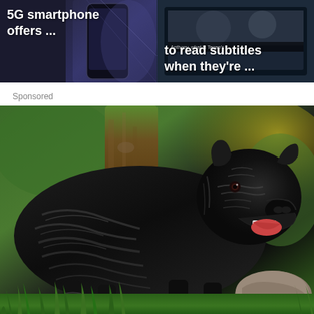[Figure (screenshot): Two article thumbnail cards side by side. Left card: dark background with smartphone image, text '5G smartphone offers ...'. Right card: dark background with TV/subtitle scene, text 'to read subtitles when they're ...' with small overlay text 'Anthony, what is Tegan's']
Sponsored
[Figure (photo): A large black Cane Corso dog with brindle striping pattern standing outdoors on grass, with a tree trunk in background and green foliage. The dog's mouth is open showing teeth. A rock is visible near its feet.]